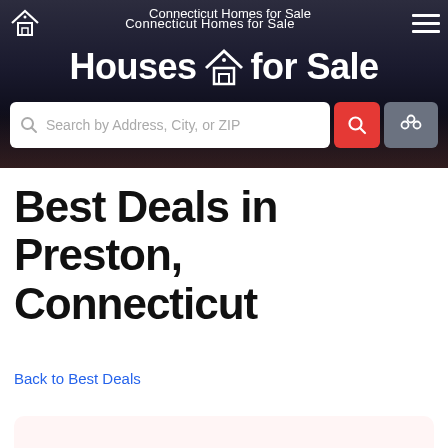Connecticut Homes for Sale
Houses for Sale
Search by Address, City, or ZIP
Best Deals in Preston, Connecticut
Back to Best Deals
Tour these homes